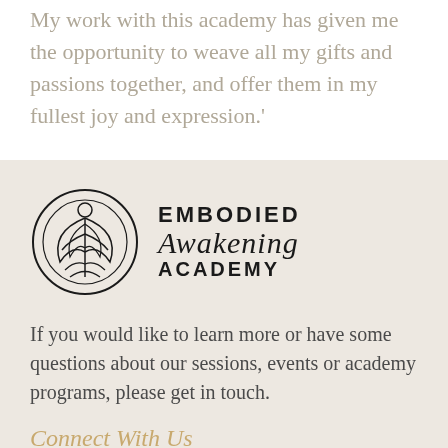My work with this academy has given me the opportunity to weave all my gifts and passions together, and offer them in my fullest joy and expression.'
[Figure (logo): Embodied Awakening Academy logo: circular emblem with abstract figure/lotus design, next to text 'EMBODIED Awakening ACADEMY']
If you would like to learn more or have some questions about our sessions, events or academy programs, please get in touch.
Connect With Us